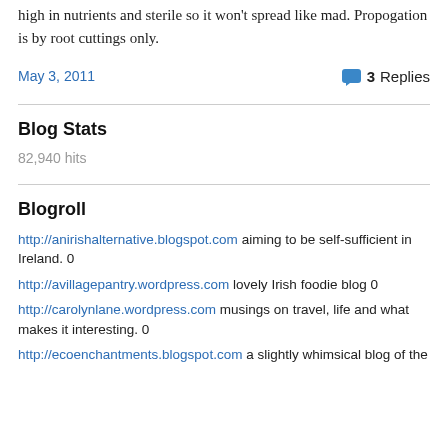high in nutrients and sterile so it won't spread like mad. Propogation is by root cuttings only.
May 3, 2011   3 Replies
Blog Stats
82,940 hits
Blogroll
http://anirishalternative.blogspot.com aiming to be self-sufficient in Ireland. 0
http://avillagepantry.wordpress.com lovely Irish foodie blog 0
http://carolynlane.wordpress.com musings on travel, life and what makes it interesting. 0
http://ecoenchantments.blogspot.com a slightly whimsical blog of the